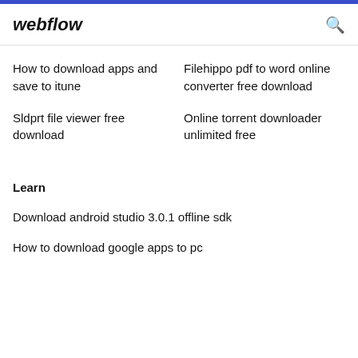webflow
How to download apps and save to itune
Sldprt file viewer free download
Filehippo pdf to word online converter free download
Online torrent downloader unlimited free
Learn
Download android studio 3.0.1 offline sdk
How to download google apps to pc